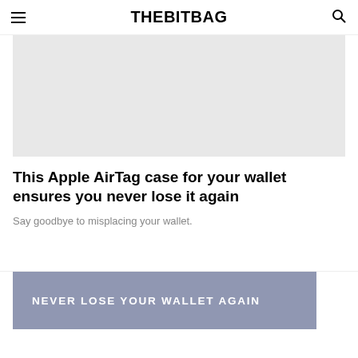THEBITBAG
[Figure (photo): Gray placeholder image area for article featured image]
This Apple AirTag case for your wallet ensures you never lose it again
Say goodbye to misplacing your wallet.
[Figure (other): Advertisement banner with text NEVER LOSE YOUR WALLET AGAIN on a muted purple/lavender background]